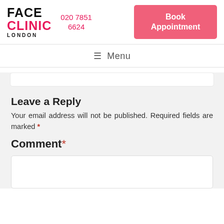[Figure (logo): Face Clinic London logo with black FACE, pink CLINIC, and black LONDON text]
020 7851 6624
Book Appointment
≡ Menu
Leave a Reply
Your email address will not be published. Required fields are marked *
Comment *